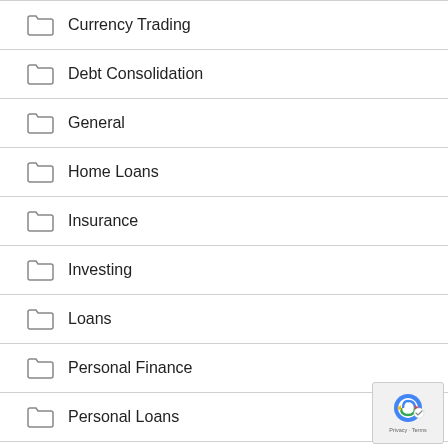Currency Trading
Debt Consolidation
General
Home Loans
Insurance
Investing
Loans
Personal Finance
Personal Loans
Staffing Agency